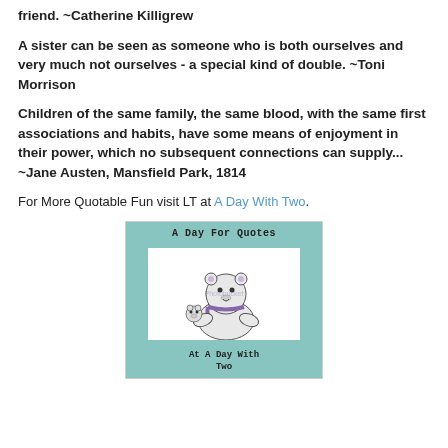friend. ~Catherine Killigrew
A sister can be seen as someone who is both ourselves and very much not ourselves - a special kind of double. ~Toni Morrison
Children of the same family, the same blood, with the same first associations and habits, have some means of enjoyment in their power, which no subsequent connections can supply... ~Jane Austen, Mansfield Park, 1814
For More Quotable Fun visit LT at A Day With Two.
[Figure (illustration): Book cover illustration titled 'A Day For Quotes' featuring a cartoon polar bear with a smaller bear, subtitle 'At A Day With Two']